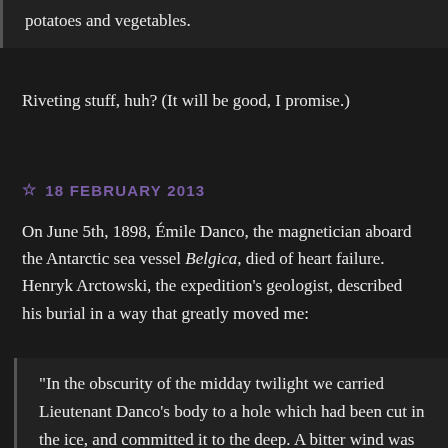potatoes and vegetables.
Riveting stuff, huh? (It will be good, I promise.)
18 FEBRUARY 2013
On June 5th, 1898, Émile Danco, the magnetician aboard the Antarctic sea vessel Belgica, died of heart failure. Henryk Arctowski, the expedition's geologist, described his burial in a way that greatly moved me:
“In the obscurity of the midday twilight we carried Lieutenant Danco’s body to a hole which had been cut in the ice, and committed it to the deep. A bitter wind was blowing as, with bared heads, each of us silent, we left him there. . . .